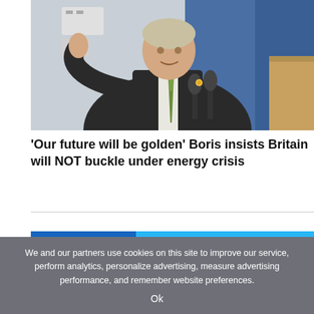[Figure (photo): A man in a dark suit and green tie gesturing with his thumb-up hand, speaking at a press event with microphones in front of him, in what appears to be a hospital or office setting with blue curtains in the background.]
'Our future will be golden' Boris insists Britain will NOT buckle under energy crisis
We and our partners use cookies on this site to improve our service, perform analytics, personalize advertising, measure advertising performance, and remember website preferences.
Ok